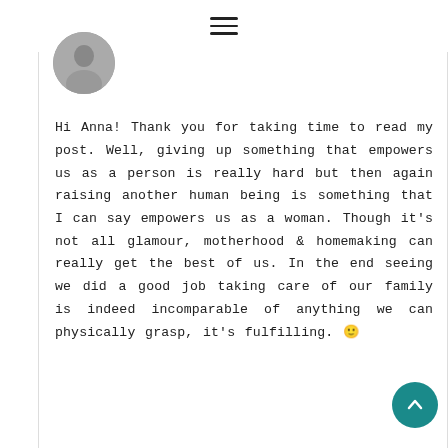≡
[Figure (photo): Circular avatar photo of a person, partially visible at top of comment card]
Hi Anna! Thank you for taking time to read my post. Well, giving up something that empowers us as a person is really hard but then again raising another human being is something that I can say empowers us as a woman. Though it's not all glamour, motherhood & homemaking can really get the best of us. In the end seeing we did a good job taking care of our family is indeed incomparable of anything we can physically grasp, it's fulfilling. 🙂